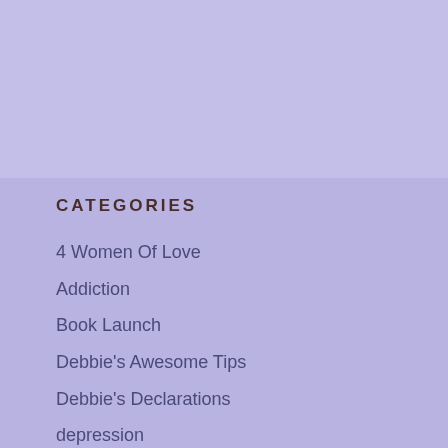CATEGORIES
4 Women Of Love
Addiction
Book Launch
Debbie's Awesome Tips
Debbie's Declarations
depression
Emotional Health
Friends & Family
Grief, Loss & Recovery